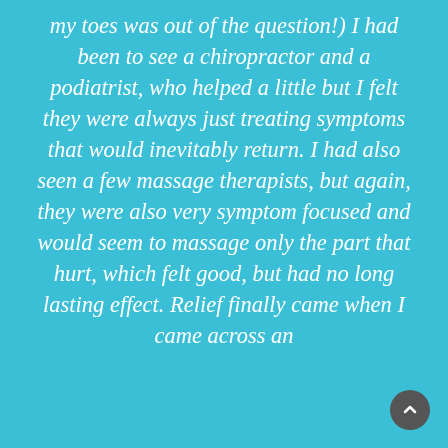my toes was out of the question!) I had been to see a chiropractor and a podiatrist, who helped a little but I felt they were always just treating symptoms that would inevitably return. I had also seen a few massage therapists, but again, they were also very symptom focused and would seem to massage only the part that hurt, which felt good, but had no long lasting effect. Relief finally came when I came across an